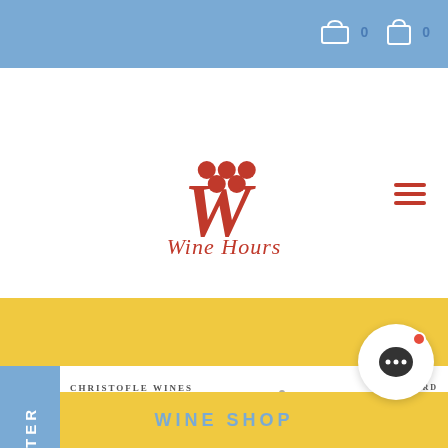Wine Hours website header with cart icons showing 0 items
[Figure (logo): Wine Hours logo: red grape dots above a large italic W, with cursive 'Wine Hours' text below]
[Figure (logo): Hamburger menu icon (3 red horizontal lines)]
[Figure (logo): Yellow navigation band]
[Figure (logo): Brand logos: CHRISTOFLE WINES / NA CALIFORNIA on left, BLACKBIRD VINEYARDS on right]
[Figure (logo): Chi Boto crest logo on left, Wine Hours watermark with Cimarossa text in center, MDW red branded tile on right]
FOLLOW US ON
[Figure (infographic): Facebook and Instagram social media icons]
WINE SHOP